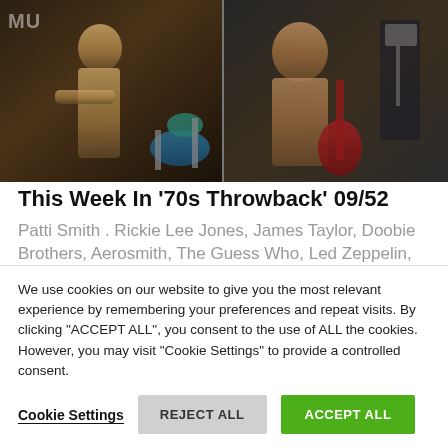[Figure (photo): Banner photo collage of musicians playing guitar and drums, dark toned, split into two panels side by side]
This Week In '70s Throwback' 09/52
Patti Smith . Rickie Lee Jones, James Taylor, Doobie Brothers, Aerosmith, The Guess Who, Led Zeppelin, Genesis, Jethro Tull, Soft Machine, Frank Zappa, Pink Floyd They are the '70s Throwback' artists selected among the 354 Posts we publish...
We use cookies on our website to give you the most relevant experience by remembering your preferences and repeat visits. By clicking "ACCEPT ALL", you consent to the use of ALL the cookies. However, you may visit "Cookie Settings" to provide a controlled consent.